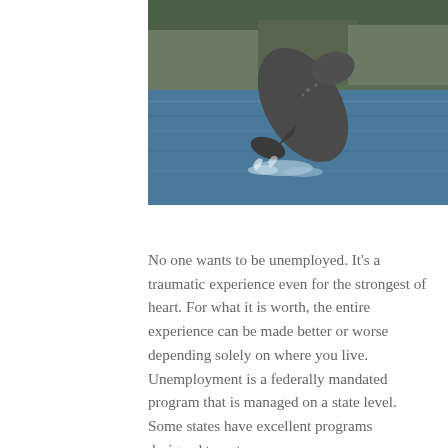[Figure (photo): A humpback whale breaching out of blue ocean water, with forested rocky cliffs in the background.]
No one wants to be unemployed. It's a traumatic experience even for the strongest of heart. For what it is worth, the entire experience can be made better or worse depending solely on where you live. Unemployment is a federally mandated program that is managed on a state level. Some states have excellent programs designed to not